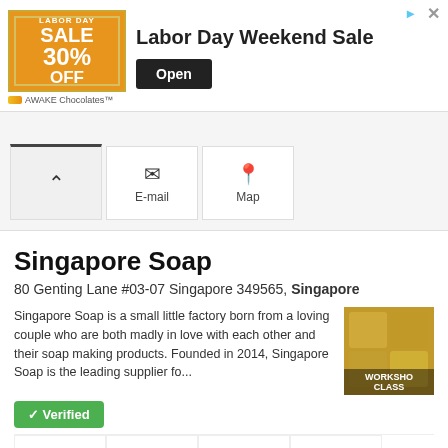[Figure (screenshot): Advertisement banner for AWAKE Chocolates Labor Day Weekend Sale showing orange sale image with 30% off and an Open button]
[Figure (screenshot): Navigation bar with Phone (up arrow), E-mail (envelope icon), and Map (pin icon) action buttons]
Singapore Soap
80 Genting Lane #03-07 Singapore 349565, Singapore
Singapore Soap is a small little factory born from a loving couple who are both madly in love with each other and their soap making products. Founded in 2014, Singapore Soap is the leading supplier fo...
[Figure (photo): Photo of soap bars with text overlay 'WORKSHOP CLASS']
Verified
[Figure (screenshot): Action buttons: Phone, E-mail, Website, and 2 Photos]